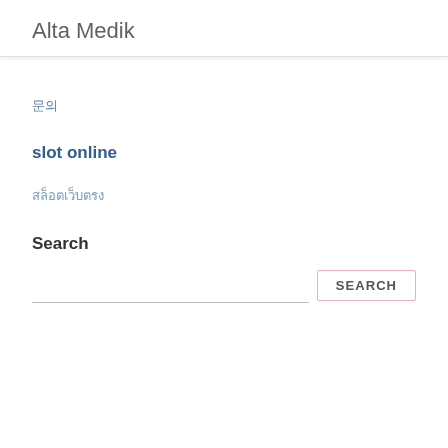Alta Medik
문의
slot online
สล็อตเว็บตรง
Search
SEARCH